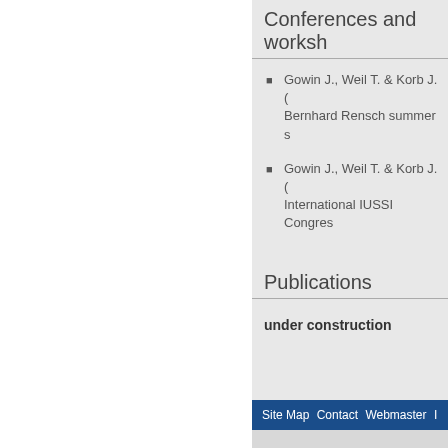Conferences and worksh…
Gowin J., Weil T. & Korb J. … Bernhard Rensch summer s…
Gowin J., Weil T. & Korb J. … International IUSSI Congres…
Publications
under construction
Site Map  Contact  Webmaster  I…